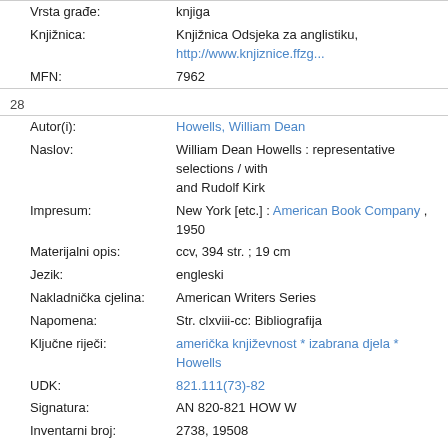| Vrsta građe: | knjiga |
| Knjižnica: | Knjižnica Odsjeka za anglistiku, http://www.knjiznice.ffz... |
| MFN: | 7962 |
28
| Autor(i): | Howells, William Dean |
| Naslov: | William Dean Howells : representative selections / with and Rudolf Kirk |
| Impresum: | New York [etc.] : American Book Company , 1950 |
| Materijalni opis: | ccv, 394 str. ; 19 cm |
| Jezik: | engleski |
| Nakladnička cjelina: | American Writers Series |
| Napomena: | Str. clxviii-cc: Bibliografija |
| Ključne riječi: | američka književnost * izabrana djela * Howells |
| UDK: | 821.111(73)-82 |
| Signatura: | AN 820-821 HOW W |
| Inventarni broj: | 2738, 19508 |
| Vrsta građe: | knjiga |
| Knjižnica: | Knjižnica Odsjeka za anglistiku, http://www.knjiznice.ffz... |
| MFN: | 7961 |
29
| Autor(i): | Twain, Mark ; Howells, William Dean |